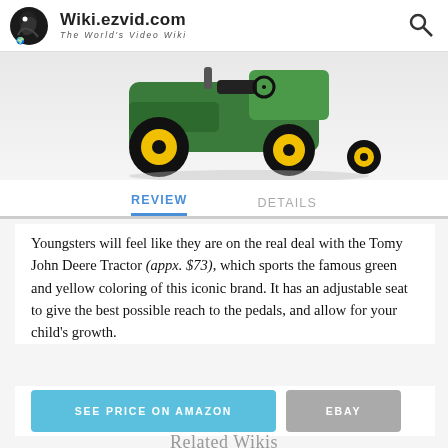Wiki.ezvid.com — The World's Video Wiki
[Figure (photo): Partial view of a green and yellow John Deere ride-on tractor toy, showing the rear wheels with black tires and yellow hubs against a light background.]
Youngsters will feel like they are on the real deal with the Tomy John Deere Tractor (appx. $73), which sports the famous green and yellow coloring of this iconic brand. It has an adjustable seat to give the best possible reach to the pedals, and allow for your child's growth.
SEE PRICE ON AMAZON
EBAY
Related Wikis